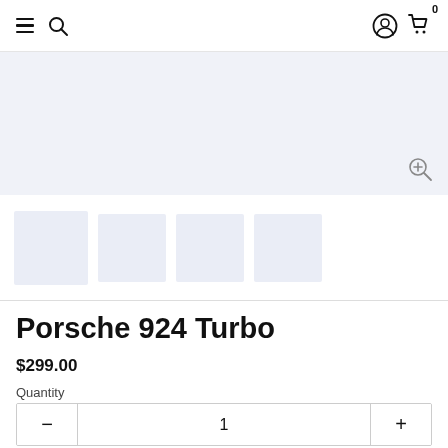Navigation bar with hamburger menu, search, user account, and cart (0)
[Figure (screenshot): Main product image area with light blue-gray background and zoom icon in bottom right]
[Figure (screenshot): Product thumbnail images row — four small placeholder image tiles with light blue-gray backgrounds]
Porsche 924 Turbo
$299.00
Quantity
1
[Figure (screenshot): Red Add to Cart button (partially visible at bottom)]